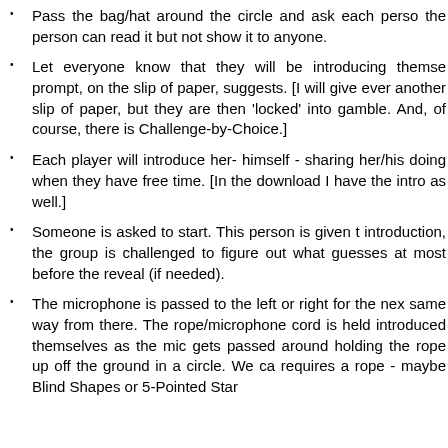Pass the bag/hat around the circle and ask each person the person can read it but not show it to anyone.
Let everyone know that they will be introducing themselves prompt, on the slip of paper, suggests. [I will give ever another slip of paper, but they are then 'locked' into gamble. And, of course, there is Challenge-by-Choice.]
Each player will introduce her- himself - sharing her/his doing when they have free time. [In the download I have the intro as well.]
Someone is asked to start. This person is given t introduction, the group is challenged to figure out what guesses at most before the reveal (if needed).
The microphone is passed to the left or right for the nex same way from there. The rope/microphone cord is held introduced themselves as the mic gets passed around holding the rope up off the ground in a circle. We ca requires a rope - maybe Blind Shapes or 5-Pointed Star